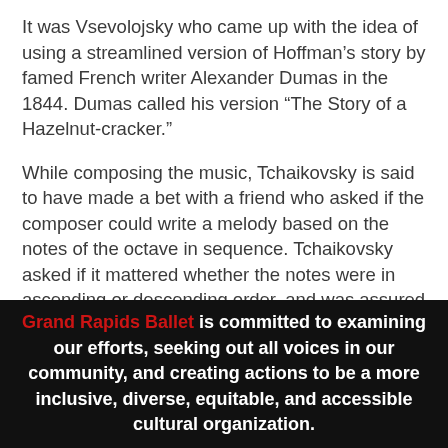It was Vsevolojsky who came up with the idea of using a streamlined version of Hoffman's story by famed French writer Alexander Dumas in the 1844. Dumas called his version “The Story of a Hazelnut-cracker.”
While composing the music, Tchaikovsky is said to have made a bet with a friend who asked if the composer could write a melody based on the notes of the octave in sequence. Tchaikovsky asked if it mattered whether the notes were in ascending or descending order, and was assured it did not. This resulted in the Grand Adage section of the “Grand Pas de Deux”. Among other things, the score of The Nutcracker is noted for its use of the celesta, a featured solo instrument in the
Grand Rapids Ballet is committed to examining our efforts, seeking out all voices in our community, and creating actions to be a more inclusive, diverse, equitable, and accessible cultural organization.